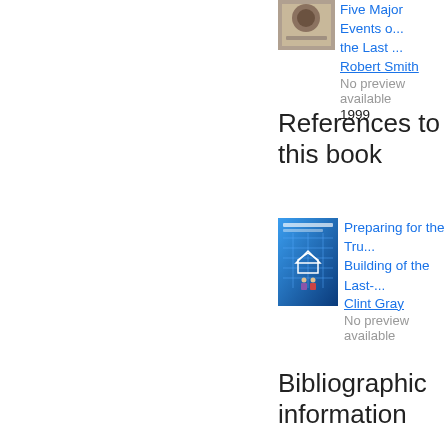[Figure (illustration): Book cover thumbnail (partially visible) for a book about Five Major Events]
Five Major Events o... the Last ...
Robert Smith
No preview available
1999
References to this book
[Figure (illustration): Book cover for 'Preparing for the Tru... Building of the Last-...' by Clint Gray, blue background with grid/house imagery]
Preparing for the Tru...
Building of the Last-...
Clint Gray
No preview available
Bibliographic information
[Figure (other): QR code for bibliographic information]